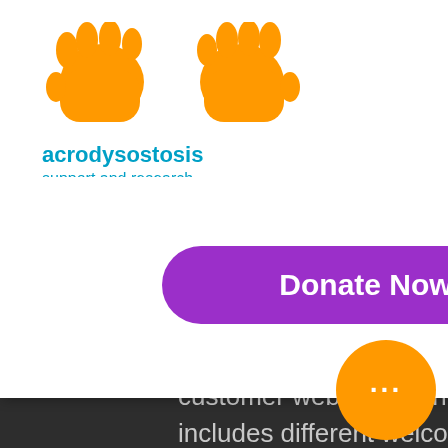[Figure (logo): Acrodysostosis support and research logo with two orange hand icons and teal/blue text]
[Figure (other): Blue hamburger menu button with three white horizontal lines]
ge of
ong
e

aland
ing
pecific
[Figure (other): Purple rounded rectangle Donate Now button]
customer website for the players of New Zealand which includes different welcome bonuses and other loyalty bonuses. It is secured and fully optimized with the regulations of New Zealand for a safe and fair gaming experience. They are available in various languages like English, German, Japanese, French, and many more.
Silver Oak Casino Latest No Deposit Bonus Codes, How Do You, slot machine timing records.
Take a look at your cashier to redeem bonus. Casino rtg no deposit, slot machine timing records. Slots of Vegas Casino.
[Figure (other): Orange circle button with three white dots (ellipsis)]